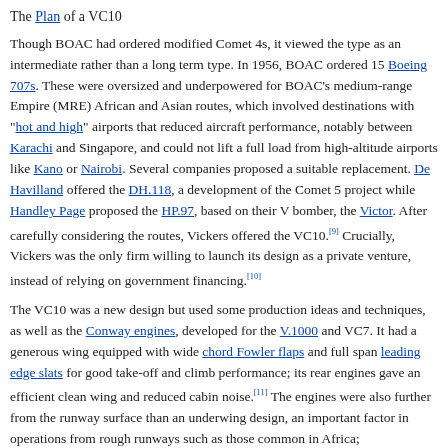The Plan of a VC10
Though BOAC had ordered modified Comet 4s, it viewed the type as an intermediate rather than a long term type. In 1956, BOAC ordered 15 Boeing 707s. These were oversized and underpowered for BOAC's medium-range Empire (MRE) African and Asian routes, which involved destinations with "hot and high" airports that reduced aircraft performance, notably between Karachi and Singapore, and could not lift a full load from high-altitude airports like Kano or Nairobi. Several companies proposed a suitable replacement. De Havilland offered the DH.118, a development of the Comet 5 project while Handley Page proposed the HP.97, based on their V bomber, the Victor. After carefully considering the routes, Vickers offered the VC10.[9] Crucially, Vickers was the only firm willing to launch its design as a private venture, instead of relying on government financing.[10]
The VC10 was a new design but used some production ideas and techniques, as well as the Conway engines, developed for the V.1000 and VC7. It had a generous wing equipped with wide chord Fowler flaps and full span leading edge slats for good take-off and climb performance; its rear engines gave an efficient clean wing and reduced cabin noise.[11] The engines were also further from the runway surface than an underwing design, an important factor in operations from rough runways such as those common in Africa;